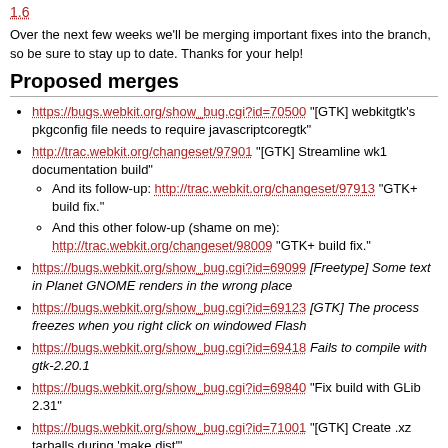1.6
Over the next few weeks we'll be merging important fixes into the branch, so be sure to stay up to date. Thanks for your help!
Proposed merges
https://bugs.webkit.org/show_bug.cgi?id=70500 "[GTK] webkitgtk's pkgconfig file needs to require javascriptcoregtk"
http://trac.webkit.org/changeset/97901 "[GTK] Streamline wk1 documentation build"
And its follow-up: http://trac.webkit.org/changeset/97913 "GTK+ build fix."
And this other folow-up (shame on me): http://trac.webkit.org/changeset/98009 "GTK+ build fix."
https://bugs.webkit.org/show_bug.cgi?id=69099 [Freetype] Some text in Planet GNOME renders in the wrong place
https://bugs.webkit.org/show_bug.cgi?id=69123 [GTK] The process freezes when you right click on windowed Flash
https://bugs.webkit.org/show_bug.cgi?id=69418 Fails to compile with gtk-2.20.1
https://bugs.webkit.org/show_bug.cgi?id=69840 "Fix build with GLib 2.31"
https://bugs.webkit.org/show_bug.cgi?id=71001 "[GTK] Create .xz tarballs during 'make dist'"